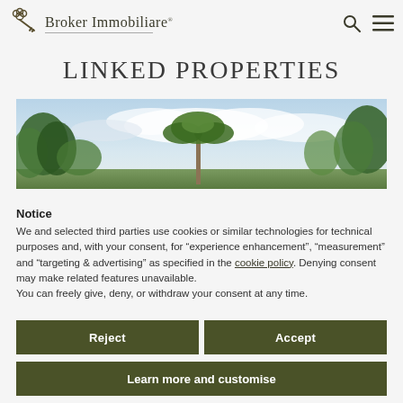Broker Immobiliare
LINKED PROPERTIES
[Figure (photo): Panoramic photo of trees including palm trees and leafy trees against a cloudy sky]
Notice
We and selected third parties use cookies or similar technologies for technical purposes and, with your consent, for “experience enhancement”, “measurement” and “targeting & advertising” as specified in the cookie policy. Denying consent may make related features unavailable.
You can freely give, deny, or withdraw your consent at any time.
Reject
Accept
Learn more and customise